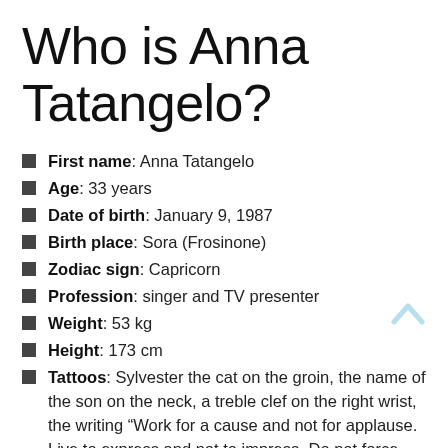Who is Anna Tatangelo?
First name: Anna Tatangelo
Age: 33 years
Date of birth: January 9, 1987
Birth place: Sora (Frosinone)
Zodiac sign: Capricorn
Profession: singer and TV presenter
Weight: 53 kg
Height: 173 cm
Tattoos: Sylvester the cat on the groin, the name of the son on the neck, a treble clef on the right wrist, the writing “Work for a cause and not for applause. Live to express and not to impress. Do not force yourself to point out your presence, rather make sure that your absence is noticed ”on the back, cheetah on the back, the paw on the wrist, the heart with